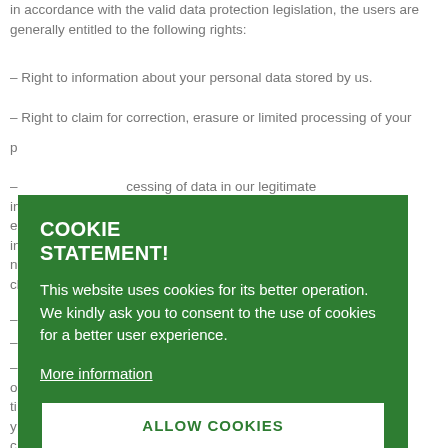in accordance with the valid data protection legislation, the users are generally entitled to the following rights:
– Right to information about your personal data stored by us.
– Right to claim for correction, erasure or limited processing of your p...
– ...cessing of data in our legitimate in... arketing research, unless we prove e... mate reasons, which outweigh your in... or if the said processing of data is n... mplementation or defence of legal cl...
– ...ata.
– ...t the data protection supervisory body.
– ...nsent to collection, processing and use o... mediate effect after withdrawal, at any ti... ailable in the previous chapter, where y... of data processing by virtue of your c...
[Figure (other): Cookie consent modal overlay with green background. Title: COOKIE STATEMENT! Body text: This website uses cookies for its better operation. We kindly ask you to consent to the use of cookies for a better user experience. Link: More information. Button: ALLOW COOKIES]